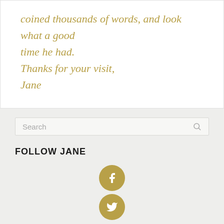coined thousands of words, and look what a good time he had.

Thanks for your visit,

Jane
Search
FOLLOW JANE
[Figure (illustration): Two circular social media icons in gold/tan color: Facebook (f) and Twitter (bird) icons stacked vertically]